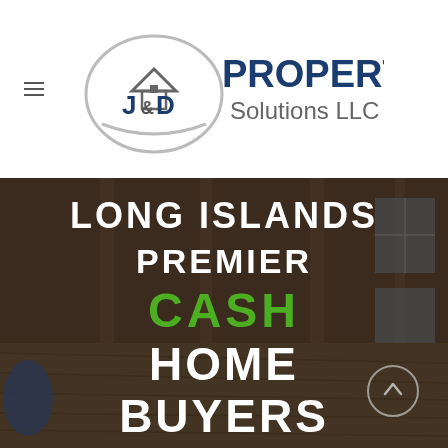[Figure (logo): J&D Property Solutions LLC logo with house/roof icon and company name in dark blue and gray text]
LONG ISLANDS PREMIER CASH HOME BUYERS